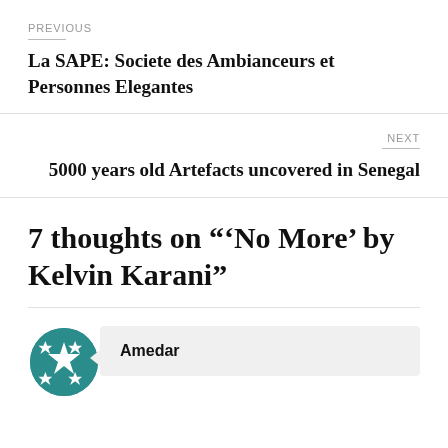PREVIOUS
La SAPE: Societe des Ambianceurs et Personnes Elegantes
NEXT
5000 years old Artefacts uncovered in Senegal
7 thoughts on "‘No More’ by Kelvin Karani"
Amedar